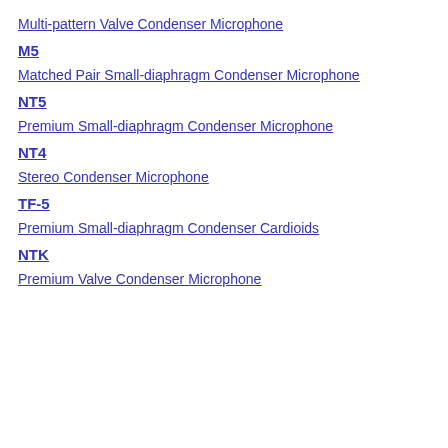Multi-pattern Valve Condenser Microphone
M5
Matched Pair Small-diaphragm Condenser Microphone
NT5
Premium Small-diaphragm Condenser Microphone
NT4
Stereo Condenser Microphone
TF-5
Premium Small-diaphragm Condenser Cardioids
NTK
Premium Valve Condenser Microphone